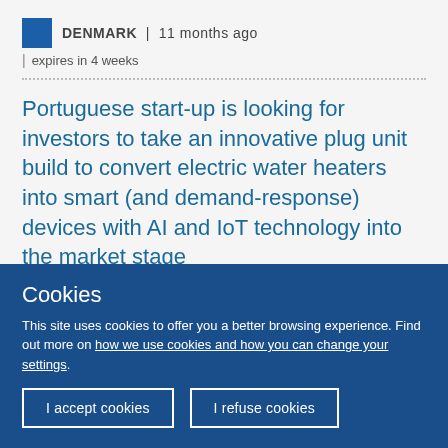DENMARK | 11 months ago | expires in 4 weeks
Portuguese start-up is looking for investors to take an innovative plug unit build to convert electric water heaters into smart (and demand-response) devices with AI and IoT technology into the market stage
Cookies
This site uses cookies to offer you a better browsing experience. Find out more on how we use cookies and how you can change your settings.
I accept cookies | I refuse cookies